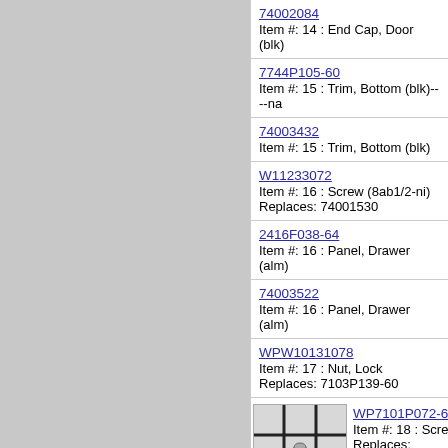[Figure (photo): Gray panel left side of page]
74002084
Item #: 14 : End Cap, Door (blk)
7744P105-60
Item #: 15 : Trim, Bottom (blk)----na
74003432
Item #: 15 : Trim, Bottom (blk)
W11233072
Item #: 16 : Screw (8ab1/2-ni)
Replaces: 74001530
2416F038-64
Item #: 16 : Panel, Drawer (alm)
74003522
Item #: 16 : Panel, Drawer (alm)
WPW10131078
Item #: 17 : Nut, Lock
Replaces: 7103P139-60
[Figure (photo): Small thumbnail photo of a screw part on grid background]
WP7101P072-6
Item #: 18 : Scre
Replaces: 7101P
W11233072
Item #: 19 : Screw (8ab1/2-ni)
Replaces: 74001530